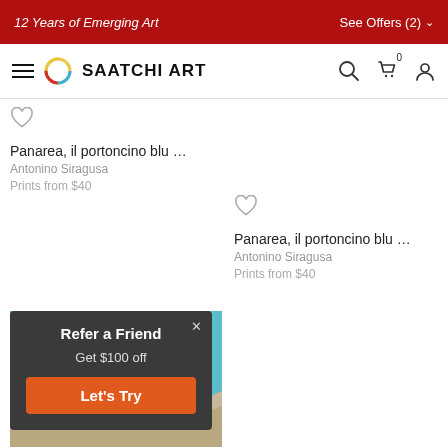12 Years of Emerging Art | See Offers (2)
[Figure (logo): Saatchi Art navigation bar with hamburger menu, circular logo, brand name SAATCHI ART, search, cart (0), and user icons]
[Figure (other): Heart/favorite icon for first product]
Panarea, il portoncino blu …
Antonino Siragusa
Prints from $40
[Figure (other): Heart/favorite icon for second product]
Panarea, il portoncino blu …
Antonino Siragusa
Prints from $40
[Figure (photo): Partial view of a turquoise and sandy beach/aerial photo artwork]
Refer a Friend
Get $100 off
Let's Try